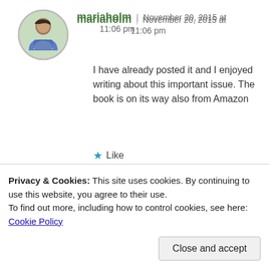[Figure (photo): Circular avatar photo of user mariaholm, woman in blue jacket outdoors]
mariaholm | November 20, 2015 at 11:06 pm
I have already posted it and I enjoyed writing about this important issue. The book is on its way also from Amazon
★ Like
[Figure (photo): Circular avatar photo of user Dana, woman with glasses]
Dana | November 22, 2015 at 10:45 pm
Privacy & Cookies: This site uses cookies. By continuing to use this website, you agree to their use.
To find out more, including how to control cookies, see here: Cookie Policy
Close and accept